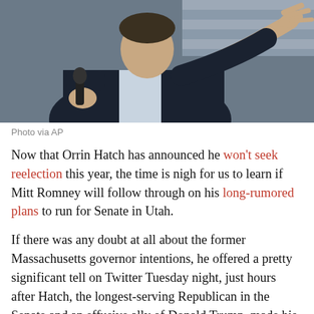[Figure (photo): A man in a dark suit holding a microphone and pointing toward the camera, with a blurred background including what appears to be an American flag.]
Photo via AP
Now that Orrin Hatch has announced he won't seek reelection this year, the time is nigh for us to learn if Mitt Romney will follow through on his long-rumored plans to run for Senate in Utah.
If there was any doubt at all about the former Massachusetts governor intentions, he offered a pretty significant tell on Twitter Tuesday night, just hours after Hatch, the longest-serving Republican in the Senate and an effusive ally of Donald Trump, made his announcement. As a few savvy Twitter users noted, including Sahil Kapur at Bloomberg News, Romney has changed his location on the site from "Massachusetts" to Holladay, Utah